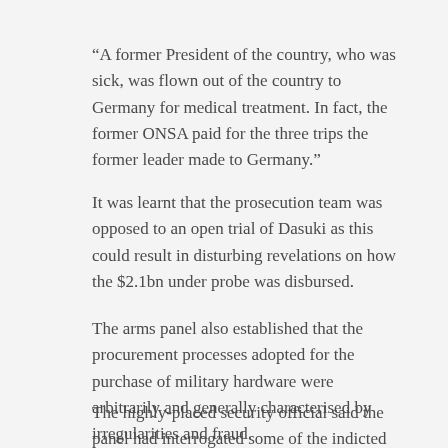“A former President of the country, who was sick, was flown out of the country to Germany for medical treatment. In fact, the former ONSA paid for the three trips the former leader made to Germany.”
It was learnt that the prosecution team was opposed to an open trial of Dasuki as this could result in disturbing revelations on how the $2.1bn under probe was disbursed.
The arms panel also established that the procurement processes adopted for the purchase of military hardware were arbitrarily and generally characterised by irregularities and fraud.
The highly-placed security official said the panel had interrogated some of the indicted